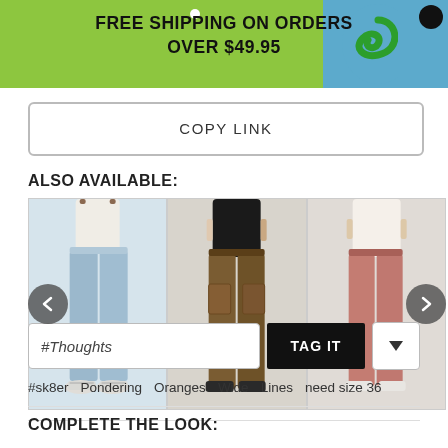FREE SHIPPING ON ORDERS OVER $49.95
COPY LINK
ALSO AVAILABLE:
[Figure (photo): Three product images showing pants: light blue wide-leg jeans, brown cargo pants, and pink/rose straight-leg pants, displayed in a horizontal carousel with left and right navigation arrows.]
#Thoughts
TAG IT
#sk8er
Pondering
Oranges
Wide
Lines
need size 36
COMPLETE THE LOOK: